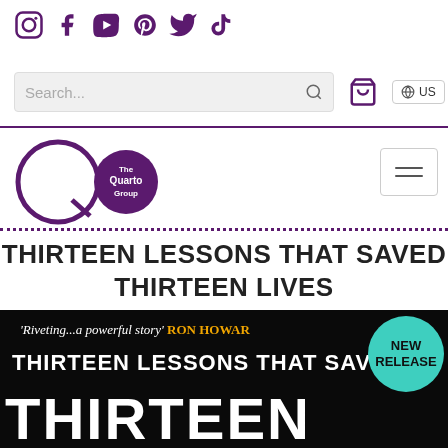Social media icons: Instagram, Facebook, YouTube, Pinterest, Twitter, TikTok
Search... [search bar] [cart icon] [US globe icon]
[Figure (logo): The Quarto Group logo — circular purple logo with Q and Quarto Group text]
THIRTEEN LESSONS THAT SAVED THIRTEEN LIVES
[Figure (photo): Book cover for 'Thirteen Lessons That Saved Thirteen Lives' — dark background with white bold title text and orange quote text reading 'Riveting...a powerful story' RON HOWARD. A teal NEW RELEASE badge is in the upper right corner.]